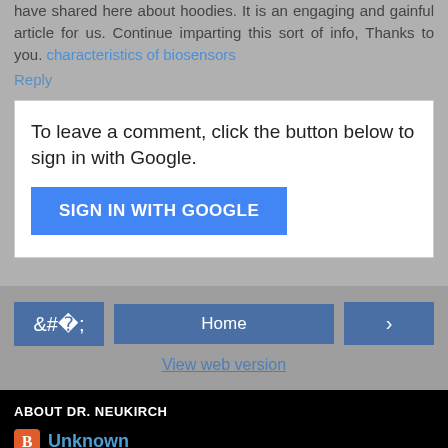have shared here about hoodies. It is an engaging and gainful article for us. Continue imparting this sort of info, Thanks to you. characteristics of biosensors
Reply
To leave a comment, click the button below to sign in with Google.
SIGN IN WITH GOOGLE
< Home >
View web version
ABOUT DR. NEUKIRCH
Unknown
View my complete profile
Powered by Blogger.